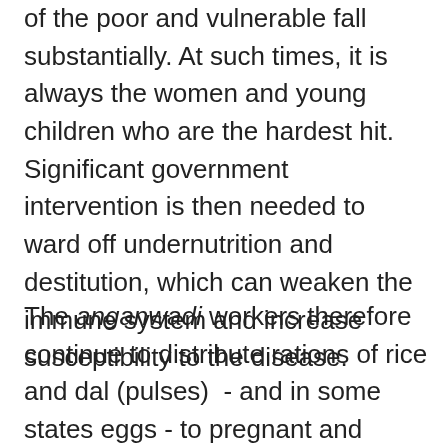of the poor and vulnerable fall substantially. At such times, it is always the women and young children who are the hardest hit. Significant government intervention is then needed to ward off undernutrition and destitution, which can weaken the immune system and increase susceptibility to the disease.
The anganwadi workers therefore continue to distribute rations of rice and dal (pulses)  - and in some states eggs - to pregnant and nursing mothers and young children, to ensure that they receive their regular supply of nutrients during these critical periods of their life. The only difference now is that instead of distributing these at the anganwadi centers, they take them